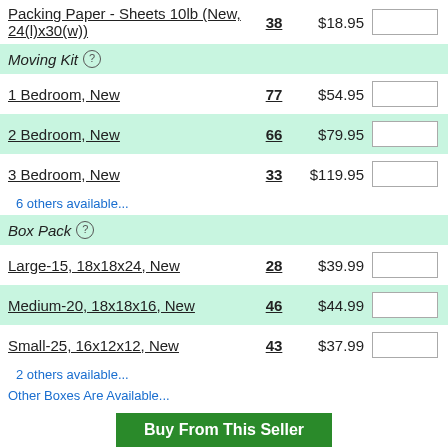Packing Paper - Sheets 10lb (New, 24(l)x30(w))  38  $18.95
Moving Kit
1 Bedroom, New  77  $54.95
2 Bedroom, New  66  $79.95
3 Bedroom, New  33  $119.95
6 others available...
Box Pack
Large-15, 18x18x24, New  28  $39.99
Medium-20, 18x18x16, New  46  $44.99
Small-25, 16x12x12, New  43  $37.99
2 others available...
Other Boxes Are Available...
Buy From This Seller
← Previous 1 2 3 4 5 6 7 8 9 ... 17 18 Next →
Notify Me of New Box Listings in This Area...
How Does To Sell? Put Them Online in Minutes!